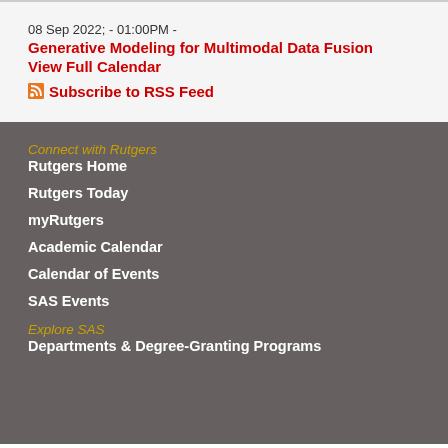08 Sep 2022; - 01:00PM -
Generative Modeling for Multimodal Data Fusion
View Full Calendar
Subscribe to RSS Feed
Connect with Rutgers
Rutgers Home
Rutgers Today
myRutgers
Academic Calendar
Calendar of Events
SAS Events
Explore SAS
Departments & Degree-Granting Programs